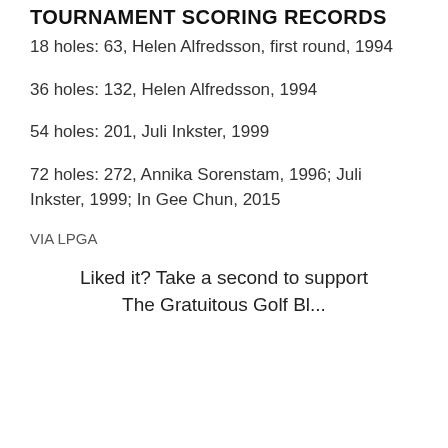TOURNAMENT SCORING RECORDS
18 holes: 63, Helen Alfredsson, first round, 1994
36 holes: 132, Helen Alfredsson, 1994
54 holes: 201, Juli Inkster, 1999
72 holes: 272, Annika Sorenstam, 1996; Juli Inkster, 1999; In Gee Chun, 2015
VIA LPGA
Liked it? Take a second to support The Gratuitous Golf Blogger